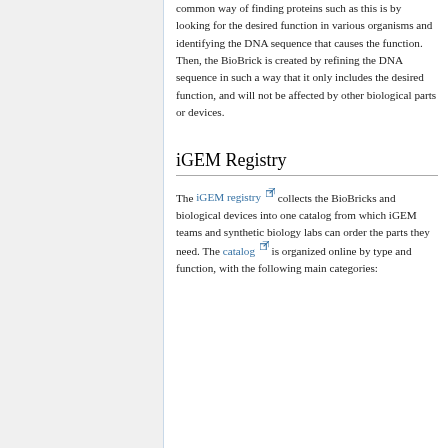common way of finding proteins such as this is by looking for the desired function in various organisms and identifying the DNA sequence that causes the function. Then, the BioBrick is created by refining the DNA sequence in such a way that it only includes the desired function, and will not be affected by other biological parts or devices.
iGEM Registry
The iGEM registry collects the BioBricks and biological devices into one catalog from which iGEM teams and synthetic biology labs can order the parts they need. The catalog is organized online by type and function, with the following main categories: